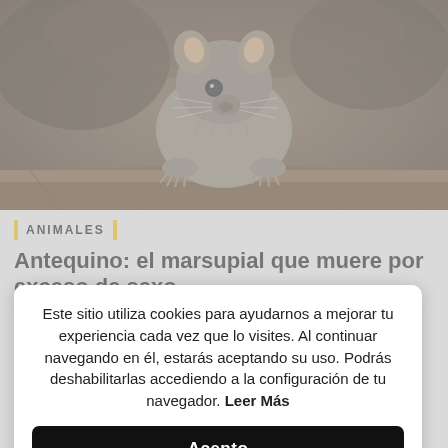[Figure (photo): Close-up photograph of an antequino (dasyurid marsupial) on a wooden log, facing the camera. The small mammal has grey-brown fur, large dark eyes, and clawed feet.]
ANIMALES
Antequino: el marsupial que muere por exceso de sexo
Este sitio utiliza cookies para ayudarnos a mejorar tu experiencia cada vez que lo visites. Al continuar navegando en él, estarás aceptando su uso. Podrás deshabilitarlas accediendo a la configuración de tu navegador. Leer Más
Acepto